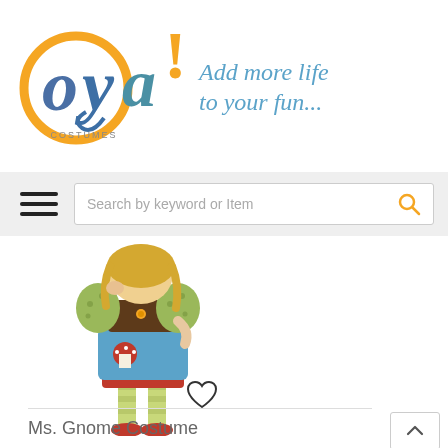Oya! Costumes — Add more life to your fun...
[Figure (screenshot): Oya Costumes logo with orange circle, stylized 'oya!' text in blue and yellow, and tagline 'Add more life to your fun...' in blue italic text]
[Figure (screenshot): Navigation bar with hamburger menu icon and search box reading 'Search by keyword or Item' with an orange search icon]
[Figure (photo): A woman wearing a Ms. Gnome Costume — green patterned blouse, brown corset, blue satin skirt with red mushroom prints, red ruffle hem, green striped stockings, and red platform shoes. She has blonde hair and poses with one hand on her hip.]
[Figure (other): Heart outline icon (wishlist/favorite button)]
Ms. Gnome Costume